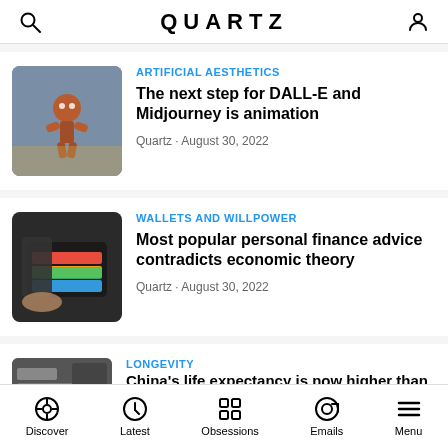QUARTZ
ARTIFICIAL AESTHETICS
The next step for DALL-E and Midjourney is animation
Quartz · August 30, 2022
WALLETS AND WILLPOWER
Most popular personal finance advice contradicts economic theory
Quartz · August 30, 2022
LONGEVITY
China's life expectancy is now higher than
Discover  Latest  Obsessions  Emails  Menu